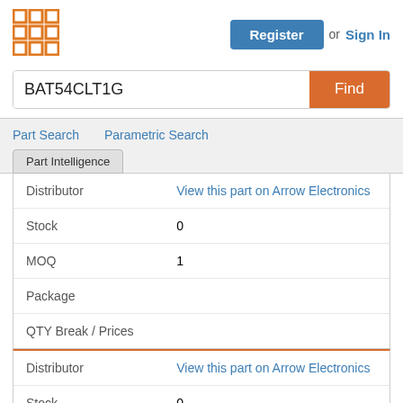[Figure (logo): Orange grid/matrix logo icon (3x3 squares with orange borders)]
Register or Sign In
BAT54CLT1G
Find
Part Search   Parametric Search
Part Intelligence
| Field | Value |
| --- | --- |
| Distributor | View this part on Arrow Electronics |
| Stock | 0 |
| MOQ | 1 |
| Package |  |
| QTY Break / Prices |  |
| Field | Value |
| --- | --- |
| Distributor | View this part on Arrow Electronics |
| Stock | 0 |